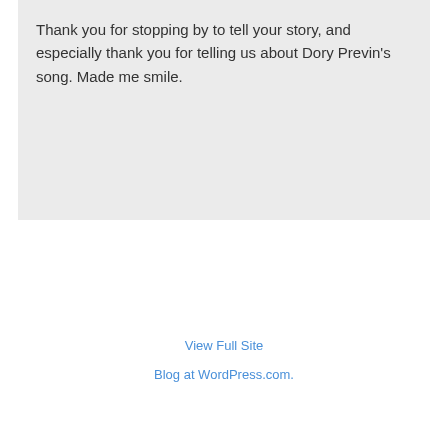Thank you for stopping by to tell your story, and especially thank you for telling us about Dory Previn's song. Made me smile.
View Full Site
Blog at WordPress.com.